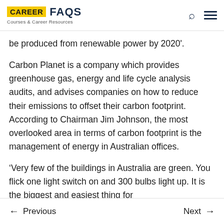CAREER FAQS – Courses & Career Resources
be produced from renewable power by 2020'.
Carbon Planet is a company which provides greenhouse gas, energy and life cycle analysis audits, and advises companies on how to reduce their emissions to offset their carbon footprint. According to Chairman Jim Johnson, the most overlooked area in terms of carbon footprint is the management of energy in Australian offices.
‘Very few of the buildings in Australia are green. You flick one light switch on and 300 bulbs light up. It is the biggest and easiest thing for
← Previous    Next →